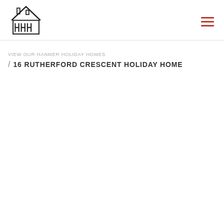HHH - Hanmer Holiday Homes logo and navigation
VIEW OUR HANMER HOLIDAY HOMES
/ 16 RUTHERFORD CRESCENT HOLIDAY HOME